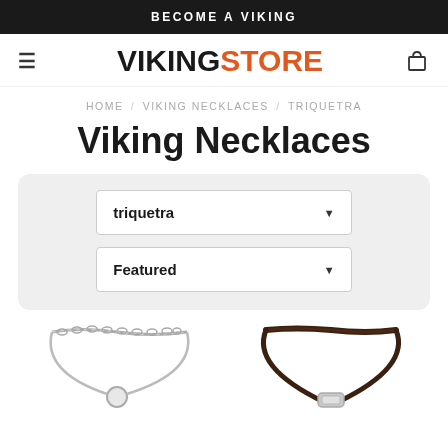BECOME A VIKING
[Figure (logo): Viking Store logo with VIKING in black bold and STORE in orange bold, flanked by hamburger menu icon and cart icon]
HOME / VIKING NECKLACES / TRIQUETRA
Viking Necklaces
triquetra (dropdown filter)
Featured (dropdown sort)
[Figure (photo): Two Viking necklace product thumbnails partially visible at bottom: left shows a silver chain necklace, right shows a dark leather cord necklace]